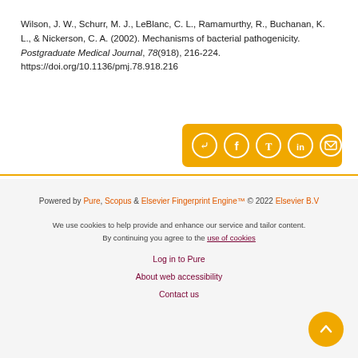Wilson, J. W., Schurr, M. J., LeBlanc, C. L., Ramamurthy, R., Buchanan, K. L., & Nickerson, C. A. (2002). Mechanisms of bacterial pathogenicity. Postgraduate Medical Journal, 78(918), 216-224. https://doi.org/10.1136/pmj.78.918.216
[Figure (other): Share bar with social media icons: share arrow, Facebook, Twitter, LinkedIn, email on an orange/yellow background]
Powered by Pure, Scopus & Elsevier Fingerprint Engine™ © 2022 Elsevier B.V
We use cookies to help provide and enhance our service and tailor content. By continuing you agree to the use of cookies
Log in to Pure
About web accessibility
Contact us